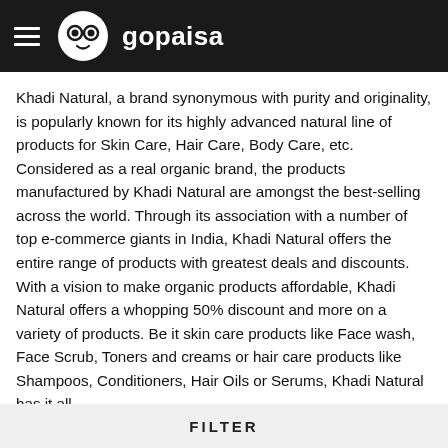gopaisa
Khadi Natural, a brand synonymous with purity and originality, is popularly known for its highly advanced natural line of products for Skin Care, Hair Care, Body Care, etc. Considered as a real organic brand, the products manufactured by Khadi Natural are amongst the best-selling across the world. Through its association with a number of top e-commerce giants in India, Khadi Natural offers the entire range of products with greatest deals and discounts. With a vision to make organic products affordable, Khadi Natural offers a whopping 50% discount and more on a variety of products. Be it skin care products like Face wash, Face Scrub, Toners and creams or hair care products like Shampoos, Conditioners, Hair Oils or Serums, Khadi Natural has it all.
Khadi Natural offerings are crafted under the supervision of qualified Ayurvedic doctors. Plus, they are composed of herbal ingredients, which makes it a preferred choice over conventional cosmetic products. Also, Khadi Natural products contain a lovely aroma that
FILTER